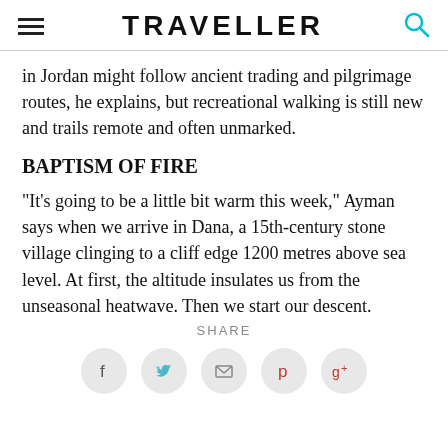TRAVELLER
in Jordan might follow ancient trading and pilgrimage routes, he explains, but recreational walking is still new and trails remote and often unmarked.
BAPTISM OF FIRE
"It's going to be a little bit warm this week," Ayman says when we arrive in Dana, a 15th-century stone village clinging to a cliff edge 1200 metres above sea level. At first, the altitude insulates us from the unseasonal heatwave. Then we start our descent.
SHARE